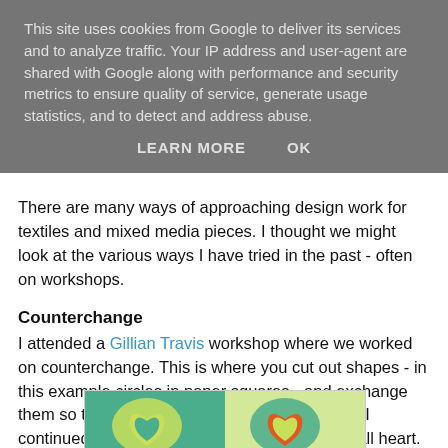This site uses cookies from Google to deliver its services and to analyze traffic. Your IP address and user-agent are shared with Google along with performance and security metrics to ensure quality of service, generate usage statistics, and to detect and address abuse.
LEARN MORE    OK
There are many ways of approaching design work for textiles and mixed media pieces.  I thought we might look at the various ways I have tried in the past - often on workshops.
Counterchange
I attended a Gillian Travis workshop where we worked on counterchange. This is where you cut out shapes - in this example circles in paper squares - and exchange them so that the colours are in different places.  I continued with the large heart and then the small heart.
[Figure (photo): Colorful counterchange art piece showing heart shapes in teal, yellow, and orange/red on colored paper squares]